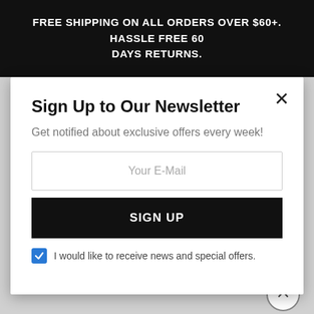FREE SHIPPING ON ALL ORDERS OVER $60+. HASSLE FREE 60 DAYS RETURNS.
Sign Up to Our Newsletter
Get notified about exclusive offers every week!
Your E-Mail
SIGN UP
I would like to receive news and special offers.
Shipments to the Contiguous 48 States
Orders $35 and over qualify for our fast free shipping offer.